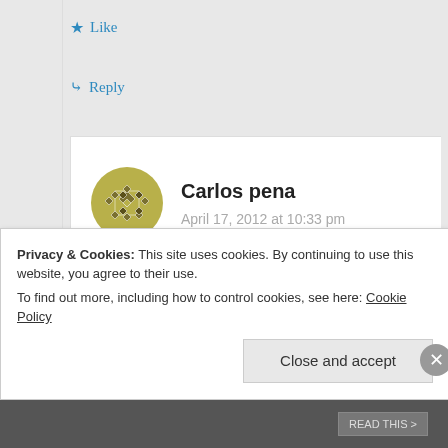★ Like
↳ Reply
Carlos pena
April 17, 2012 at 10:33 pm
I was using 2 tablets of aspirin 325mg with a cup of coffee and it worked fine
Privacy & Cookies: This site uses cookies. By continuing to use this website, you agree to their use. To find out more, including how to control cookies, see here: Cookie Policy
Close and accept